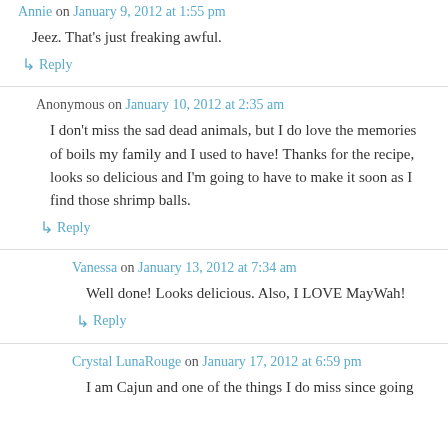Annie on January 9, 2012 at 1:55 pm
Jeez. That's just freaking awful.
↳ Reply
Anonymous on January 10, 2012 at 2:35 am
I don't miss the sad dead animals, but I do love the memories of boils my family and I used to have! Thanks for the recipe, looks so delicious and I'm going to have to make it soon as I find those shrimp balls.
↳ Reply
Vanessa on January 13, 2012 at 7:34 am
Well done! Looks delicious. Also, I LOVE MayWah!
↳ Reply
Crystal LunaRouge on January 17, 2012 at 6:59 pm
I am Cajun and one of the things I do miss since going...